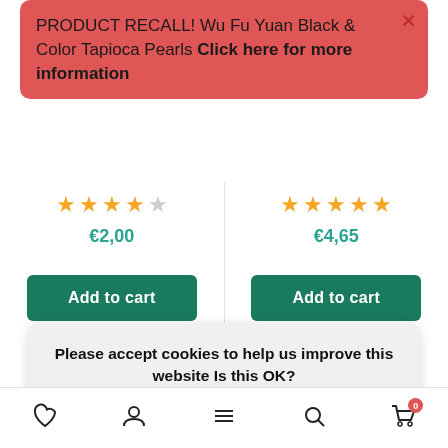PRODUCT RECALL! Wu Fu Yuan Black & Color Tapioca Pearls Click here for more information
★★★★☆ €2,00
★★★★★ €4,65
Add to cart
Add to cart
Please accept cookies to help us improve this website Is this OK?
Yes
No
More on cookies »
♡  👤  ≡  🔍  🛒 0